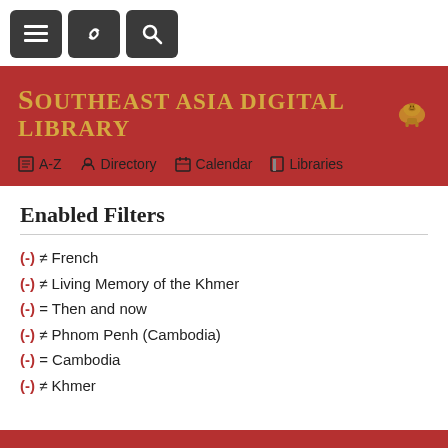[Figure (screenshot): Toolbar with three dark rounded buttons: hamburger menu, link/chain icon, and search icon]
SOUTHEAST ASIA DIGITAL LIBRARY
A-Z   Directory   Calendar   Libraries
Enabled Filters
(-) ≠ French
(-) ≠ Living Memory of the Khmer
(-) = Then and now
(-) ≠ Phnom Penh (Cambodia)
(-) = Cambodia
(-) ≠ Khmer